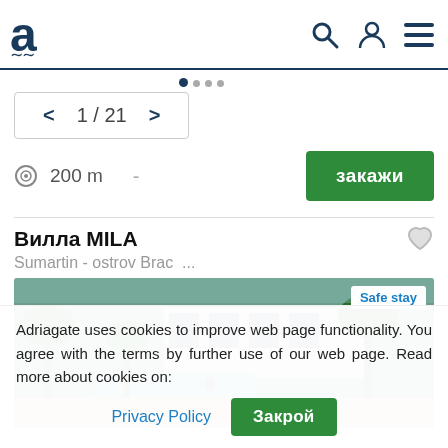[Figure (logo): Adriagate logo - stylized letter a with wave]
1 / 21
© 200 m  -
закажи
Вилла MILA
Sumartin - ostrov Brac  ...
[Figure (photo): Aerial view of Villa MILA with pool, palm trees and terrace. Safe stay badge in top right corner.]
Adriagate uses cookies to improve web page functionality. You agree with the terms by further use of our web page. Read more about cookies on:
Privacy Policy
Закрой